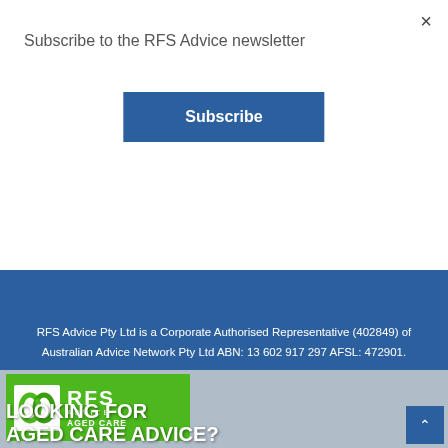×
Subscribe to the RFS Advice newsletter
Subscribe
RFS Advice Pty Ltd is a Corporate Authorised Representative (402849) of Australian Advice Network Pty Ltd ABN: 13 602 917 297 AFSL: 472901.
Site crafted by The Workshop Co.
[Figure (logo): RFS Advice Aged Care logo — green background with white chain-link knot icon and text RFS ADVICE AGED CARE]
LOOKING FOR AGED CARE ADVICE?